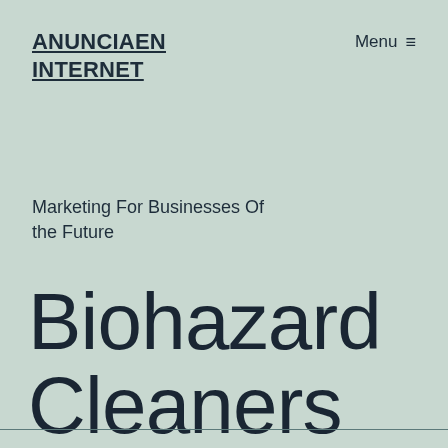ANUNCIAEN INTERNET
Menu ≡
Marketing For Businesses Of the Future
Biohazard Cleaners Pay